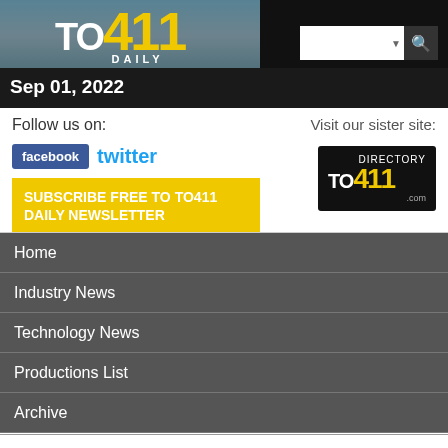TO411 DAILY — Sep 01, 2022
Follow us on:
facebook  twitter
SUBSCRIBE FREE TO TO411 DAILY NEWSLETTER
Visit our sister site:
[Figure (logo): TO411 Directory .com logo]
Home
Industry News
Technology News
Productions List
Archive
FRONT PAGE, INDUSTRY NEWS
Netflix's third-quarter earnings tumble amid global expansion